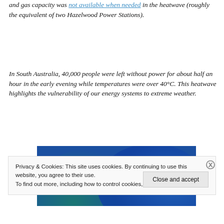and gas capacity was not available when needed in the heatwave (roughly the equivalent of two Hazelwood Power Stations).
In South Australia, 40,000 people were left without power for about half an hour in the early evening while temperatures were over 40°C. This heatwave highlights the vulnerability of our energy systems to extreme weather.
[Figure (photo): Partial view of a graphic or image with blue gradient tones, possibly an infographic or chart background with teal and blue circular shapes.]
Privacy & Cookies: This site uses cookies. By continuing to use this website, you agree to their use.
To find out more, including how to control cookies, see here: Cookie Policy